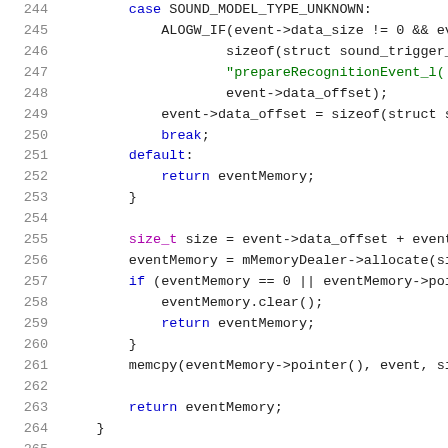[Figure (screenshot): Source code snippet in C/C++ showing lines 244-265 of a function. The code includes a switch-case block with SOUND_MODEL_TYPE_UNKNOWN case, ALOGW_IF calls, event->data_offset assignments, break statement, default case returning eventMemory, memory allocation with mMemoryDealer->allocate, memcpy call, and final return eventMemory.]